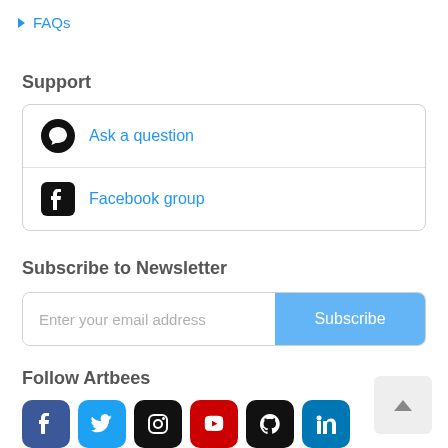▶ FAQs
Support
Ask a question
Facebook group
Subscribe to Newsletter
Enter your email address
Subscribe
Follow Artbees
[Figure (infographic): Social media icons: Facebook, Twitter, Instagram, YouTube, GitHub, LinkedIn]